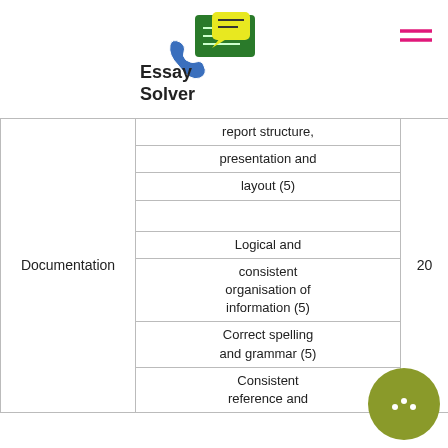[Figure (logo): Essay Solver logo with chat icon and telephone graphic]
| Category | Criteria | Marks |
| --- | --- | --- |
| Documentation | report structure, presentation and layout (5) | 20 |
|  | Logical and consistent organisation of information (5) |  |
|  | Correct spelling and grammar (5) |  |
|  | Consistent reference and |  |